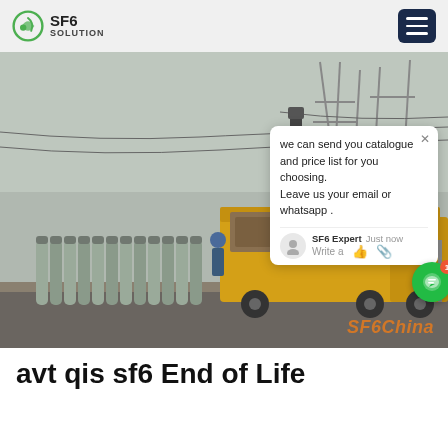SF6 SOLUTION
[Figure (photo): SF6 gas cylinders lined up near a yellow service truck at an electrical substation with power transmission towers in the background. A chat popup overlay reads: 'we can send you catalogue and price list for you choosing. Leave us your email or whatsapp.' Signed by SF6 Expert. SF6China watermark in bottom right.]
avt qis sf6 End of Life